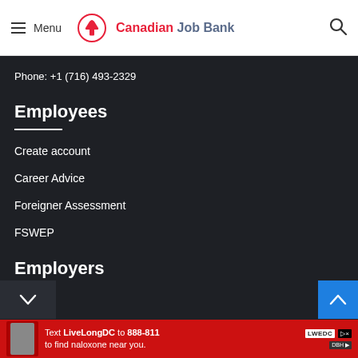Menu  Canadian Job Bank
Phone: +1 (716) 493-2329
Employees
Create account
Career Advice
Foreigner Assessment
FSWEP
Employers
[Figure (screenshot): Advertisement banner: Text LiveLongDC to 888-811 to find naloxone near you.]